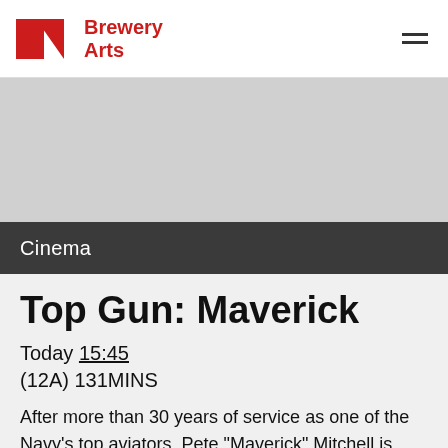Brewery Arts
[Figure (illustration): Gray placeholder image banner]
Cinema
Top Gun: Maverick
Today 15:45
(12A) 131MINS
After more than 30 years of service as one of the Navy's top aviators, Pete "Maverick" Mitchell is where he belongs, pushing the envelope as...